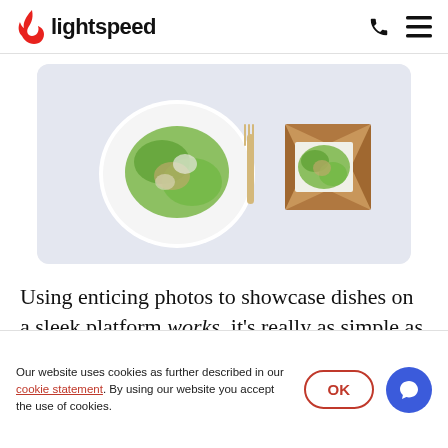lightspeed
[Figure (photo): A salad on a white plate next to a wooden fork and a kraft paper takeout box containing the same salad, on a light grey background.]
Using enticing photos to showcase dishes on a sleek platform works, it's really as simple as that. It's not only an added sensory experience – it's temptation
Our website uses cookies as further described in our cookie statement. By using our website you accept the use of cookies.